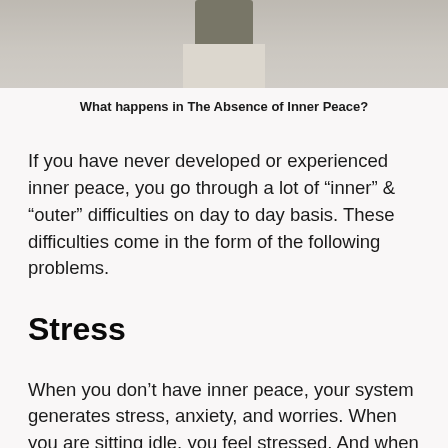[Figure (photo): Partial photo of a person wearing a dark olive/green shirt and light cream/beige pants, cropped showing torso and legs against a light background]
What happens in The Absence of Inner Peace?
If you have never developed or experienced inner peace, you go through a lot of “inner”  & “outer” difficulties on day to day basis. These difficulties come in the form of the following problems.
Stress
When you don’t have inner peace, your system generates stress, anxiety, and worries. When you are sitting idle, you feel stressed. And when you try to do something,